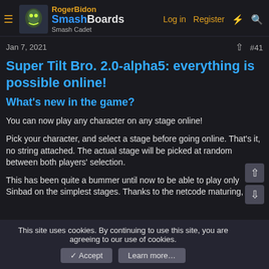RogerBidon SmashBoards Smash Cadet | Log in | Register
Jan 7, 2021  #41
Super Tilt Bro. 2.0-alpha5: everything is possible online!
What's new in the game?
You can now play any character on any stage online!
Pick your character, and select a stage before going online. That's it, no string attached. The actual stage will be picked at random between both players' selection.
This has been quite a bummer until now to be able to play only Sinbad on the simplest stages. Thanks to the netcode maturing,
This site uses cookies. By continuing to use this site, you are agreeing to our use of cookies.
✓ Accept  Learn more…